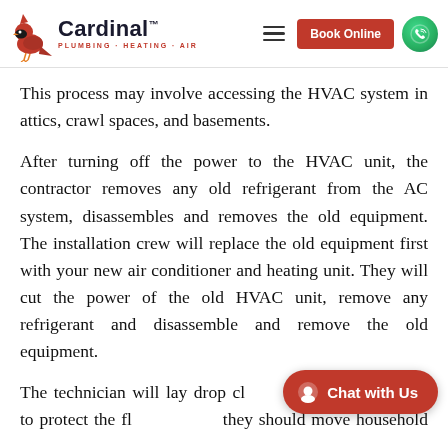Cardinal Plumbing Heating Air — Book Online
This process may involve accessing the HVAC system in attics, crawl spaces, and basements.
After turning off the power to the HVAC unit, the contractor removes any old refrigerant from the AC system, disassembles and removes the old equipment. The installation crew will replace the old equipment first with your new air conditioner and heating unit. They will cut the power of the old HVAC unit, remove any refrigerant and disassemble and remove the old equipment.
The technician will lay drop cloths and protective paper to protect the flooring. And they should move household belongings near